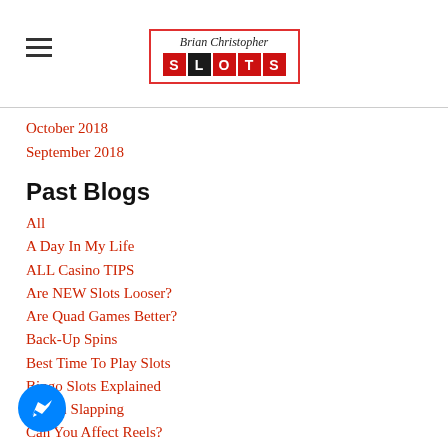Brian Christopher SLOTS
October 2018
September 2018
Past Blogs
All
A Day In My Life
ALL Casino TIPS
Are NEW Slots Looser?
Are Quad Games Better?
Back-Up Spins
Best Time To Play Slots
Bingo Slots Explained
Button Slapping
Can You Affect Reels?
Casino Etiquette
Casino Myths
Casino Pet Peeves
[Figure (logo): Facebook Messenger blue circle icon with lightning bolt chat symbol]